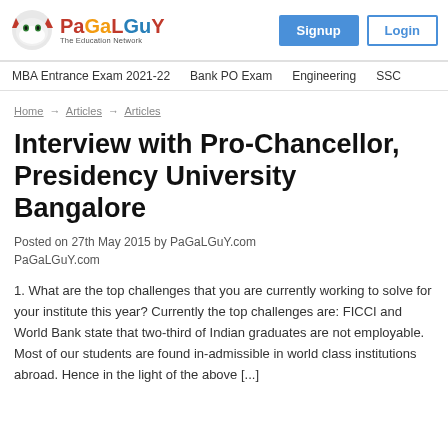PaGaLGuY – The Education Network | Signup | Login
MBA Entrance Exam 2021-22 | Bank PO Exam | Engineering | SSC
Home → Articles → Articles
Interview with Pro-Chancellor, Presidency University Bangalore
Posted on 27th May 2015 by PaGaLGuY.com
PaGaLGuY.com
1. What are the top challenges that you are currently working to solve for your institute this year? Currently the top challenges are: FICCI and World Bank state that two-third of Indian graduates are not employable. Most of our students are found in-admissible in world class institutions abroad. Hence in the light of the above [...]